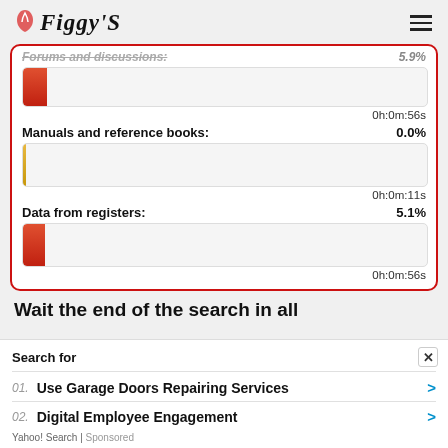Figgy'S
Forums and discussions: 5.9%
0h:0m:56s
Manuals and reference books: 0.0%
0h:0m:11s
Data from registers: 5.1%
0h:0m:56s
Wait the end of the search in all
Search for
01. Use Garage Doors Repairing Services
02. Digital Employee Engagement
Yahoo! Search | Sponsored